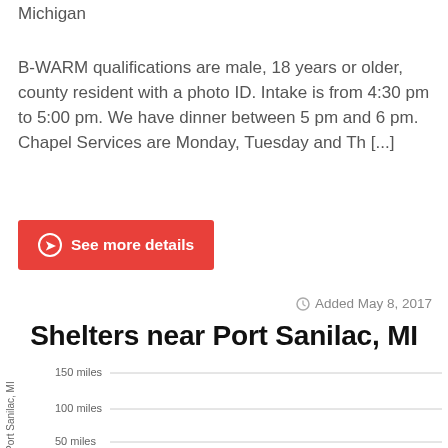Michigan
B-WARM qualifications are male, 18 years or older, county resident with a photo ID. Intake is from 4:30 pm to 5:00 pm. We have dinner between 5 pm and 6 pm. Chapel Services are Monday, Tuesday and Th [...]
See more details
Added May 8, 2017
Shelters near Port Sanilac, MI
[Figure (continuous-plot): A distance chart showing shelters near Port Sanilac, MI. Y-axis labeled 'distance from Port Sanilac, MI' with gridlines at 50 miles, 100 miles, and 150 miles. The chart appears mostly empty in the visible portion.]